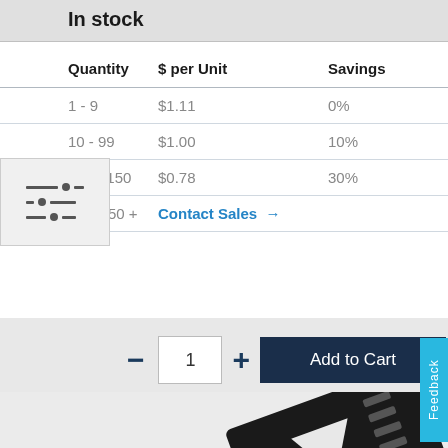In stock
| Quantity | $ per Unit | Savings |
| --- | --- | --- |
| 1 - 9 | $1.11 | 0% |
| 10 - 99 | $1.00 | 10% |
| 100 - 150 | $0.78 | 30% |
| 150 + | Contact Sales → |  |
− 1 + Add to Cart
or
Add Free Sample
[Figure (photo): Integrated circuit / chip component, dark colored SMD package with leads, photographed at an angle showing the top surface with a logo.]